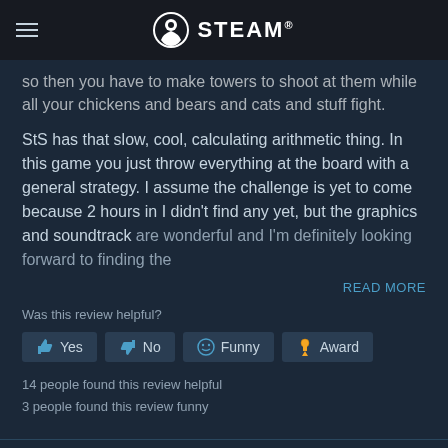STEAM
so then you have to make towers to shoot at them while all your chickens and bears and cats and stuff fight.
StS has that slow, cool, calculating arithmetic thing. In this game you just throw everything at the board with a general strategy. I assume the challenge is yet to come because 2 hours in I didn't find any yet, but the graphics and soundtrack are wonderful and I'm definitely looking forward to finding the
READ MORE
Was this review helpful?
Yes   No   Funny   Award
14 people found this review helpful
3 people found this review funny
Recommended
1.9 hrs on record (1.1 hrs at review time)